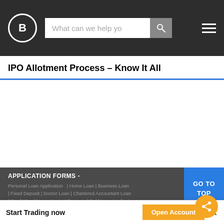B [logo] | What can we help you | [search] | [menu]
IPO Allotment Process – Know It All
APPLICATION FORMS -
Personal Loan Application | Home Loan | Business Loan | Fixed Deposit | Doctor Loan | Chartered Accountant Loan | Credit Card | Loan Against Property | Gold Loan Application | Rental Deposit Loan | EMI NETWORK Card | Open Demat and Trading Account
+ LOANS
Start Trading now   Open Account   ×